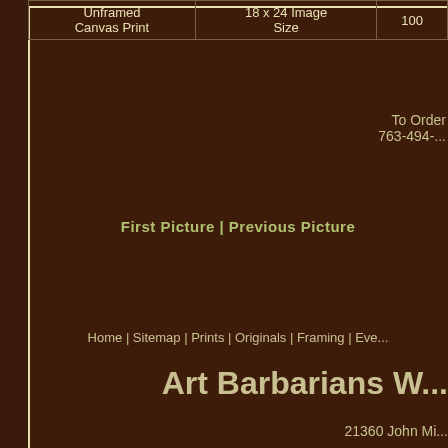| Unframed Canvas Print | 18 x 24 Image Size | 100 |
| --- | --- | --- |
To Order 763-494-...
First Picture | Previous Picture
Home | Sitemap | Prints | Originals | Framing | Eve...
Art Barbarians W...
21360 John Mi...
Rogers, MN...
Phone: 763 4...
Email: theartbarbari...